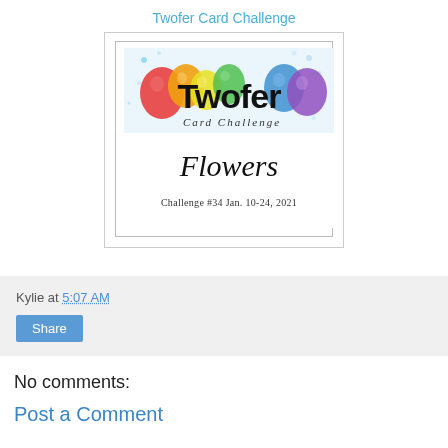Twofer Card Challenge
[Figure (illustration): Twofer Card Challenge logo image showing colorful balloons, the word 'Twofer' in large bold text, 'Card Challenge' in italic script below, a horizontal rule divider, 'Flowers' in italic script, and 'Challenge #34  Jan. 10-24, 2021' in smaller text. Enclosed in a bordered box.]
Kylie at 5:07 AM
Share
No comments:
Post a Comment